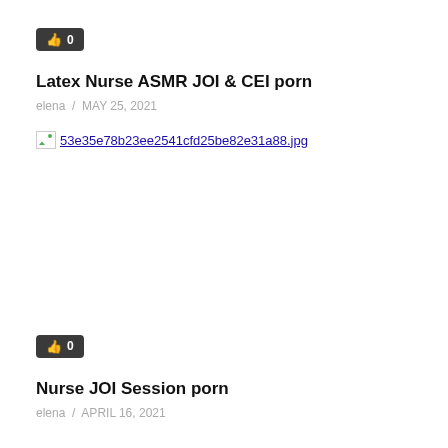[Figure (other): Like/thumbs-up badge showing count 0, dark rounded rectangle with thumbs up icon]
Latex Nurse ASMR JOI & CEI porn
elena / MAY 25, 2021
[Figure (other): Broken image placeholder with filename link: 53e35e78b23ee2541cfd25be82e31a88.jpg]
[Figure (other): Like/thumbs-up badge showing count 0, dark rounded rectangle with thumbs up icon]
Nurse JOI Session porn
elena / APRIL 16, 2021